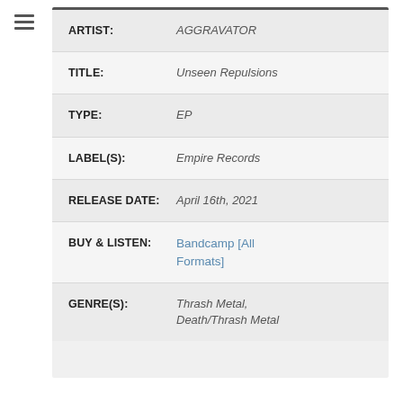| Field | Value |
| --- | --- |
| ARTIST: | AGGRAVATOR |
| TITLE: | Unseen Repulsions |
| TYPE: | EP |
| LABEL(S): | Empire Records |
| RELEASE DATE: | April 16th, 2021 |
| BUY & LISTEN: | Bandcamp [All Formats] |
| GENRE(S): | Thrash Metal, Death/Thrash Metal |